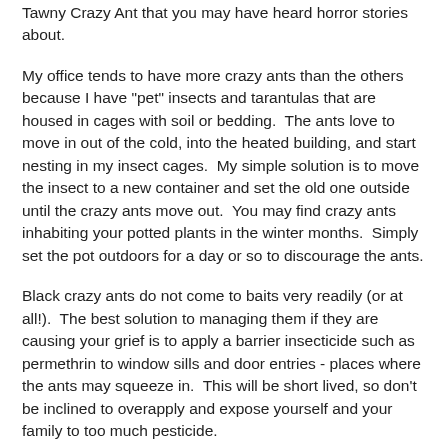Tawny Crazy Ant that you may have heard horror stories about.
My office tends to have more crazy ants than the others because I have "pet" insects and tarantulas that are housed in cages with soil or bedding.  The ants love to move in out of the cold, into the heated building, and start nesting in my insect cages.  My simple solution is to move the insect to a new container and set the old one outside until the crazy ants move out.  You may find crazy ants inhabiting your potted plants in the winter months.  Simply set the pot outdoors for a day or so to discourage the ants.
Black crazy ants do not come to baits very readily (or at all!).  The best solution to managing them if they are causing your grief is to apply a barrier insecticide such as permethrin to window sills and door entries - places where the ants may squeeze in.  This will be short lived, so don't be inclined to overapply and expose yourself and your family to too much pesticide.
The black crazy ants will eventually move back outdoors